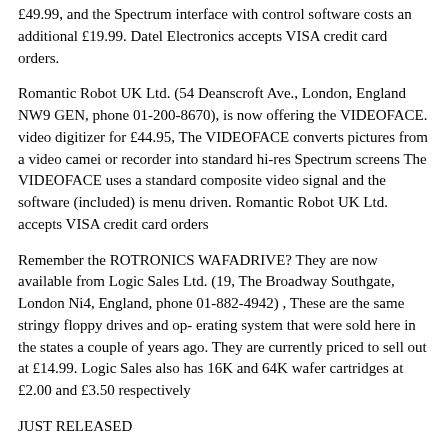£49.99, and the Spectrum interface with control software costs an additional £19.99. Datel Electronics accepts VISA credit card orders.
Romantic Robot UK Ltd. (54 Deanscroft Ave., London, England NW9 GEN, phone 01-200-8670), is now offering the VIDEOFACE. video digitizer for £44.95, The VIDEOFACE converts pictures from a video camei or recorder into standard hi-res Spectrum screens The VIDEOFACE uses a standard composite video signal and the software (included) is menu driven. Romantic Robot UK Ltd. accepts VISA credit card orders
Remember the ROTRONICS WAFADRIVE? They are now available from Logic Sales Ltd. (19, The Broadway Southgate, London Ni4, England, phone 01-882-4942) , These are the same stringy floppy drives and op- erating system that were sold here in the states a couple of years ago. They are currently priced to sell out at £14.99. Logic Sales also has 16K and 64K wafer cartridges at £2.00 and £3.50 respectively
JUST RELEASED
TS1000/TS1500
A comprehensive Timex/Sinclair Public Domain Software Library is maintained by the VISTA (Vashon Island, Washington) group